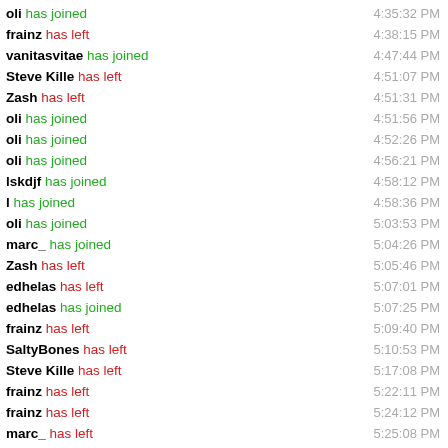oli has joined  4:35:32 PM
frainz has left  4:38:15 PM
vanitasvitae has joined  4:47:44 PM
Steve Kille has left  4:51:07 PM
Zash has left  4:51:31 PM
oli has joined  4:51:56 PM
oli has joined  4:52:26 PM
oli has joined  4:56:21 PM
lskdjf has joined  4:58:12 PM
l has joined  4:58:36 PM
oli has joined  5:03:53 PM
marc_ has joined  5:04:26 PM
Zash has left  5:05:46 PM
edhelas has left  5:07:01 PM
edhelas has joined  5:07:25 PM
frainz has left  5:09:40 PM
SaltyBones has left  5:10:53 PM
Steve Kille has left  5:17:08 PM
frainz has left  5:22:11 PM
frainz has left  5:24:12 PM
marc_ has left  5:25:08 PM
marc_ has joined  5:32:50 PM
frainz has left  5:33:10 PM
frainz has left  5:34:23 PM
frainz has left  5:35:31 PM